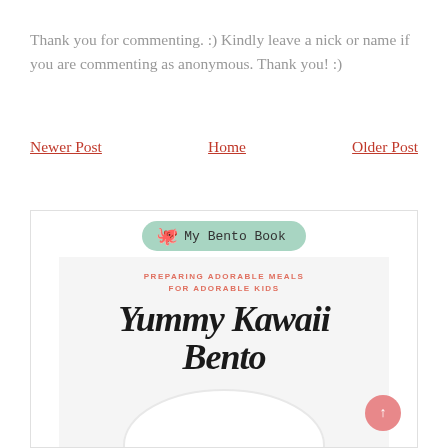Thank you for commenting. :) Kindly leave a nick or name if you are commenting as anonymous. Thank you! :)
Newer Post
Home
Older Post
[Figure (illustration): Book cover for 'Yummy Kawaii Bento' — My Bento Book logo with octopus icon on mint green pill, subtitle 'PREPARING ADORABLE MEALS FOR ADORABLE KIDS' in red, large brush-script title text, white plate with food balls arranged in a face pattern on light gray background.]